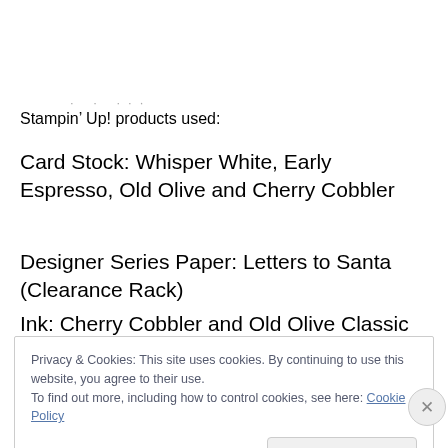Stampin’ Up! products used:
Card Stock: Whisper White, Early Espresso, Old Olive and Cherry Cobbler
Designer Series Paper: Letters to Santa (Clearance Rack)
Ink: Cherry Cobbler and Old Olive Classic Stampin’ Ink
Privacy & Cookies: This site uses cookies. By continuing to use this website, you agree to their use.
To find out more, including how to control cookies, see here: Cookie Policy
Close and accept